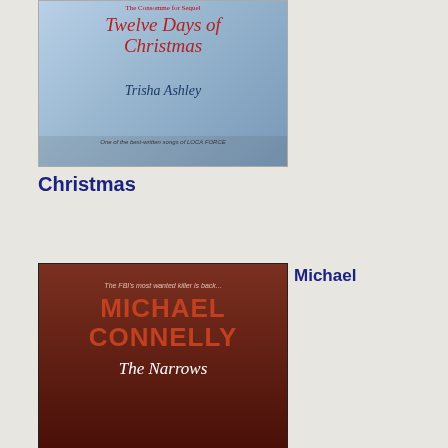[Figure (photo): Book cover: Twelve Days of Christmas by Trisha Ashley]
Christmas
Michael
[Figure (photo): Book cover: Michael Connelly - The Narrows]
Connelly: The Narrows
Michael
[Figure (photo): Book cover: Michael Connelly - City of Bones]
12: AM | Per | Co (3) | Tra (0)
[Figure (screenshot): Social sharing buttons including refresh, moon/crescent, Pinterest, and blue bar icons]
[Figure (screenshot): QR code or grid icon]
Th Gr Ha - Mi Ar
"It has occ